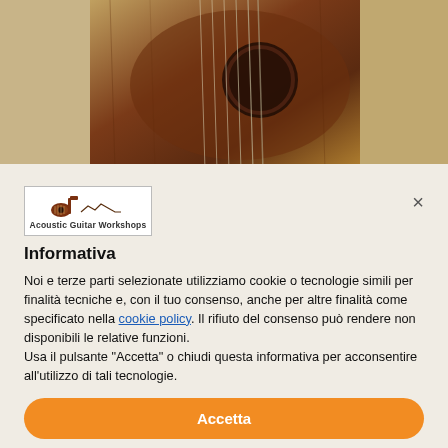[Figure (photo): Close-up photo of an acoustic guitar body showing wooden soundboard and strings, warm brown tones]
[Figure (logo): Acoustic Guitar Workshops logo with guitar silhouette icon and text]
Informativa
Noi e terze parti selezionate utilizziamo cookie o tecnologie simili per finalità tecniche e, con il tuo consenso, anche per altre finalità come specificato nella cookie policy. Il rifiuto del consenso può rendere non disponibili le relative funzioni.
Usa il pulsante "Accetta" o chiudi questa informativa per acconsentire all'utilizzo di tali tecnologie.
Accetta
Scopri di più e personalizza